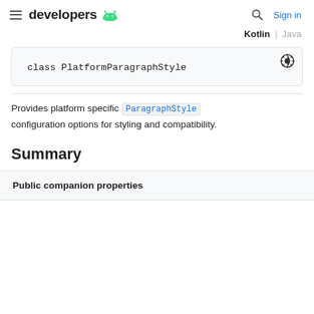developers [android logo] | Search | Sign in
Kotlin | Java
class PlatformParagraphStyle
Provides platform specific ParagraphStyle configuration options for styling and compatibility.
Summary
| Public companion properties |
| --- |